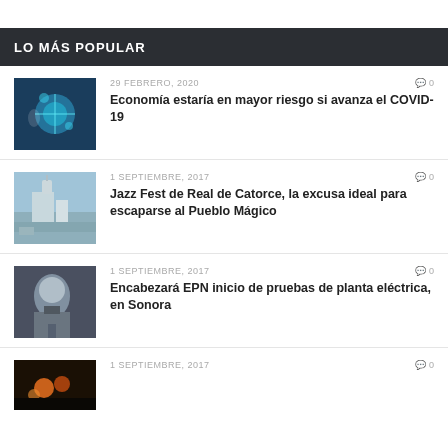LO MÁS POPULAR
29 FEBRERO, 2020 | 0 | Economía estaría en mayor riesgo si avanza el COVID-19
1 SEPTIEMBRE, 2017 | 0 | Jazz Fest de Real de Catorce, la excusa ideal para escaparse al Pueblo Mágico
1 SEPTIEMBRE, 2017 | 0 | Encabezará EPN inicio de pruebas de planta eléctrica, en Sonora
1 SEPTIEMBRE, 2017 | 0